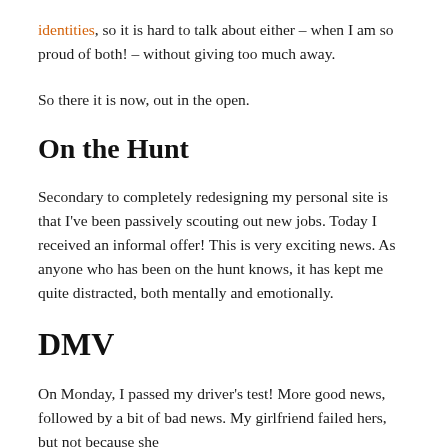identities, so it is hard to talk about either – when I am so proud of both! – without giving too much away.
So there it is now, out in the open.
On the Hunt
Secondary to completely redesigning my personal site is that I've been passively scouting out new jobs. Today I received an informal offer! This is very exciting news. As anyone who has been on the hunt knows, it has kept me quite distracted, both mentally and emotionally.
DMV
On Monday, I passed my driver's test! More good news, followed by a bit of bad news. My girlfriend failed hers, but not because she